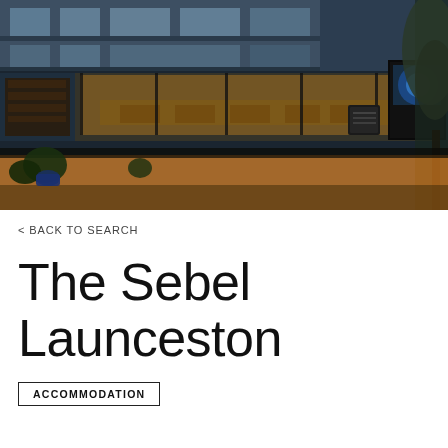[Figure (photo): Exterior night photo of The Sebel Launceston hotel building. Modern multi-story building with glass facade, warmly lit interior restaurant/bar visible through floor-to-ceiling windows. Trees visible on right side, illuminated by warm orange lighting on ground level. A chalkboard sign is visible outside.]
BACK TO SEARCH
The Sebel Launceston
ACCOMMODATION